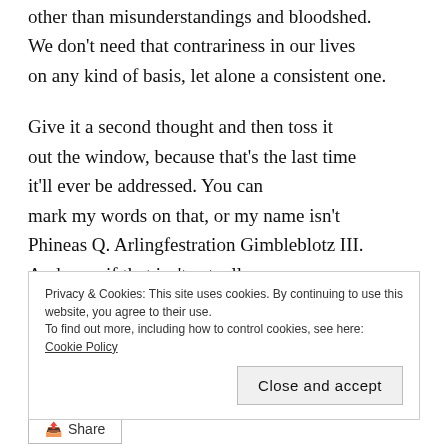other than misunderstandings and bloodshed. We don't need that contrariness in our lives on any kind of basis, let alone a consistent one.

Give it a second thought and then toss it out the window, because that's the last time it'll ever be addressed. You can mark my words on that, or my name isn't Phineas Q. Arlingfestration Gimbleblotz III. And even if that isn't actually my name, do you really need some stranger's endorsement as justification for being a decent human?
Privacy & Cookies: This site uses cookies. By continuing to use this website, you agree to their use. To find out more, including how to control cookies, see here: Cookie Policy